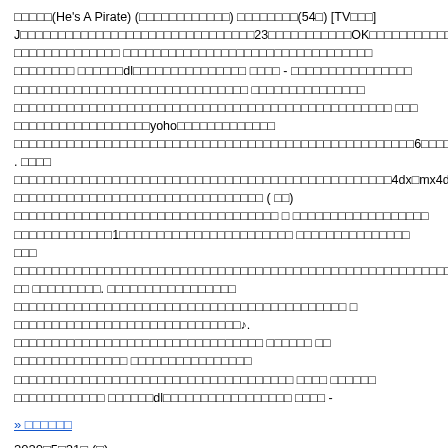□□□□□(He's A Pirate) (□□□□□□□□□□□□) □□□□□□□□(54□) [TV□□□] J□□□□□□□□□□□□□□□□□□□□□□□□□□□□□□□23□□□□□□□□□□□OK□□□□□□□□□□□□□□□□□□□□□□□□□ □□□□□□□□□□□□□□ □□□□□□□□□□□□□□□□□□□□□□□□□□□□□□□□□ □□□□□□□□ □□□□□□dl□□□□□□□□□□□□□□□ □□□□ - □□□□□□□□□□□□□□□□ □□□□□□□□□□□□□□□□□□□□□□□□□□□□□□□ □□□□□□□□□□□□□□□ □□□□□□□□□□□□□□□□□□□□□□□□□□□□□□□□□□□□□□□□□□□□□□□□□□ □□□ □□□□□□□□□□□□□□□□□□yoho□□□□□□□□□□□□□ □□□□□□□□□□□□□□□□□□□□□□□□□□□□□□□□□□□□□□□□□□□□□□□6□□□□□□...5□□□□□ . □□□□ □□□□□□□□□□□□□□□□□□□□□□□□□□□□□□□□□□□□□□□□□□□□□□□□□□4dx□mx4d□□□□□□□□□ □□□□□□□□□□□□□□□□□□□□□□□□□□□□□□□□□ ( □□) □□□□□□□□□□□□□□□□□□□□□□□□□□□□□□□□□□□ □ □□□□□□□□□□□□□□□□□□ □□□□□□□□□□□□□1□□□□□□□□□□□□□□□□□□□□□□□ □□□□□□□□□□□□□□□ □□□ □□□□□□□□□□□□□□□□□□□□□□□□□□□□□□□□□□□□□□□□□□□□□□□□□□□□□□□□□□□□□□□□□□□□□□ □□ □□□□□□□□□. □□□□□□□□□□□□□□□□□ □□□□□□□□□□□□□□□□□□□□□□□□□□□□□□□□□□□□□□□□□□□□ □ □□□□□□□□□□□□□□□□□□□□□□□□□□□□□□♪. □□□□□□□□□□□□□□□□□□□□□□□□□□□□□□□□□ □□□□□□ □□ □□□□□□□□□□□□□□□ □□□□□□□□□□□□□□□□ □□□□□□□□□□□□□□□□□□□□□□□□□□□□□□□□□□□□□ □□□□ □□□□□□ □□□□□□□□□□□□ □□□□□□dl□□□□□□□□□□□□□□□□□ □□□□ -
» □□□□□□
2020□5□21□ (□)
Lugnoncure/□□□□□□□□
□□□□ (0)